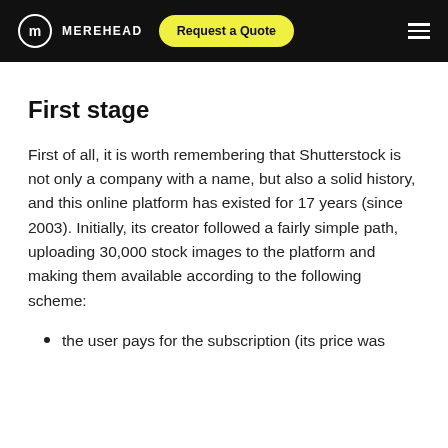MEREHEAD | Request a Quote
First stage
First of all, it is worth remembering that Shutterstock is not only a company with a name, but also a solid history, and this online platform has existed for 17 years (since 2003). Initially, its creator followed a fairly simple path, uploading 30,000 stock images to the platform and making them available according to the following scheme:
the user pays for the subscription (its price was